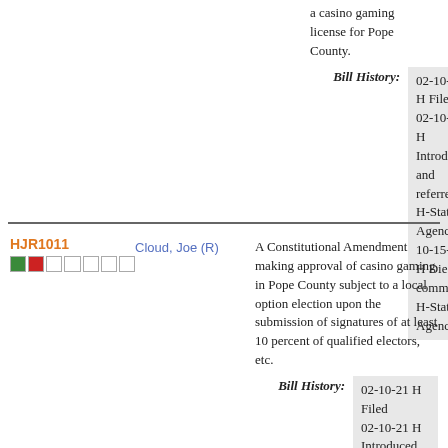a casino gaming license for Pope County.
Bill History: 02-10-21 H Filed 02-10-21 H Introduced and referred to H-State Agencies 10-15-21 H Died in committee H-State Agencies
HJR1011
Cloud, Joe (R)
A Constitutional Amendment making approval of casino gaming in Pope County subject to a local option election upon the submission of signatures of at least 10 percent of qualified electors, etc.
Bill History: 02-10-21 H Filed 02-10-21 H Introduced and referred to H-State